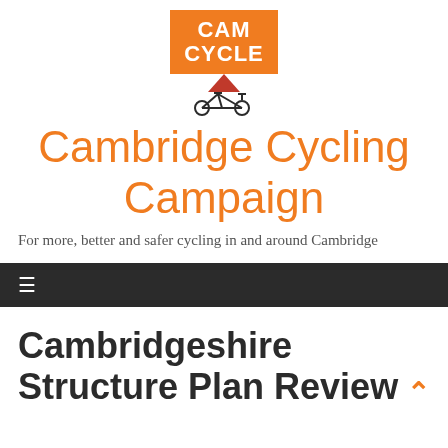[Figure (logo): CamCycle logo: orange rectangle badge with CAM CYCLE text in white, below it a red triangular pennant and a bicycle icon]
Cambridge Cycling Campaign
For more, better and safer cycling in and around Cambridge
≡
Cambridgeshire Structure Plan Review